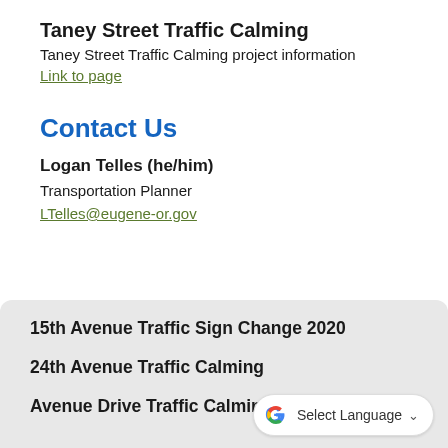Taney Street Traffic Calming
Taney Street Traffic Calming project information
Link to page
Contact Us
Logan Telles (he/him)
Transportation Planner
LTelles@eugene-or.gov
15th Avenue Traffic Sign Change 2020
24th Avenue Traffic Calming
Avenue Drive Traffic Calming